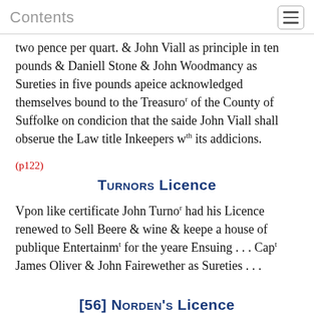Contents
two pence per quart. & John Viall as principle in ten pounds & Daniell Stone & John Woodmancy as Sureties in five pounds apeice acknowledged themselves bound to the Treasuroʳ of the County of Suffolke on condicion that the saide John Viall shall obserue the Law title Inkeepers wᵗʰ its addicions.
(p122)
Turnors Licence
Vpon like certificate John Turnoʳ had his Licence renewed to Sell Beere & wine & keepe a house of publique Entertainmᵗ for the yeare Ensuing . . . Capᵗ James Oliver & John Fairewether as Sureties . . .
[56] Norden’s Licence
Samm. Norden, on like certificate had his Licence